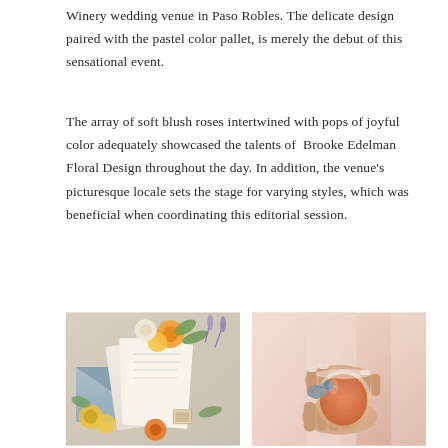Winery wedding venue in Paso Robles. The delicate design paired with the pastel color pallet, is merely the debut of this sensational event.
The array of soft blush roses intertwined with pops of joyful color adequately showcased the talents of Brooke Edelman Floral Design throughout the day. In addition, the venue's picturesque locale sets the stage for varying styles, which was beneficial when coordinating this editorial session.
[Figure (photo): Flat lay of wedding stationery, invitations, and envelopes surrounded by colorful flowers including orange ranunculus, yellow roses, and greenery]
[Figure (photo): Close-up of a bride in a blush pink dress holding a stemless wine glass with an orange drink and a small decorative bird figurine, showing her engagement ring]